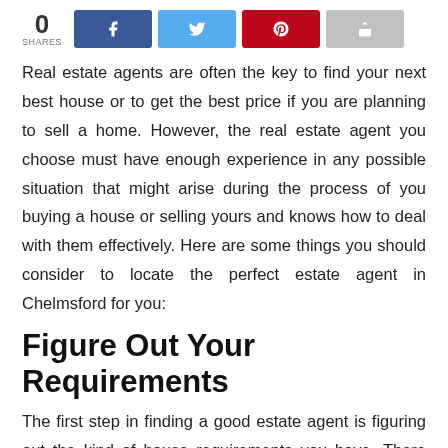[Figure (infographic): Share bar showing 0 shares with Facebook, Twitter, Pinterest, and generic share buttons]
Real estate agents are often the key to find your next best house or to get the best price if you are planning to sell a home. However, the real estate agent you choose must have enough experience in any possible situation that might arise during the process of you buying a house or selling yours and knows how to deal with them effectively. Here are some things you should consider to locate the perfect estate agent in Chelmsford for you:
Figure Out Your Requirements
The first step in finding a good estate agent is figuring out the kind of house requirements you have. There are many estate agents in Chelmsford that work for clients that have specifically different kinds of requirements. Make a list of your budget, the kind of house mortgage you want, the type of neighborhood that you are